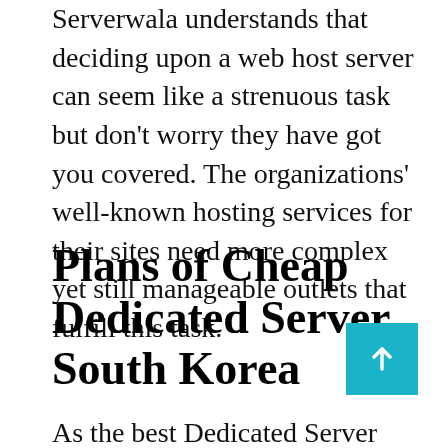Serverwala understands that deciding upon a web host server can seem like a strenuous task but don't worry they have got you covered. The organizations' well-known hosting services for their sites need more complex yet still manageable outlets that fulfill this task.
Plans of Cheap Dedicated Server South Korea
As the best Dedicated Server Provider